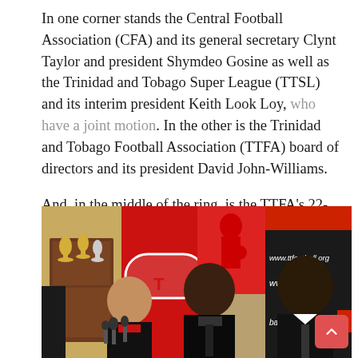In one corner stands the Central Football Association (CFA) and its general secretary Clynt Taylor and president Shymdeo Gosine as well as the Trinidad and Tobago Super League (TTSL) and its interim president Keith Look Loy, who have a joint motion. In the other is the Trinidad and Tobago Football Association (TTFA) board of directors and its president David John-Williams.

And, in the middle of the ring, is the TTFA's 22-month-old constitution.
[Figure (photo): Three men at a press conference with TTFA (Trinidad and Tobago Football Association) branded banners in the background showing www.ttfootball.org. Two men in suits are visible prominently, with one speaking into microphones. Trophies visible on a shelf in the background at left.]